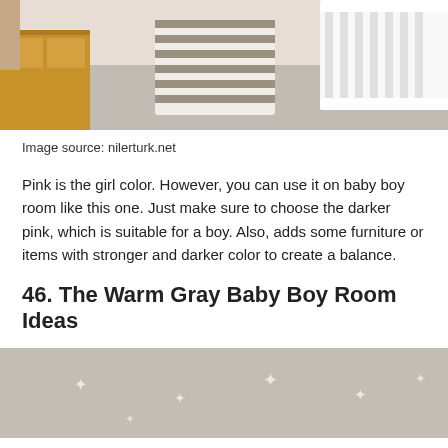[Figure (photo): Baby nursery room with a white crib, striped ottoman/stool, wooden dresser, and gray carpet flooring. A pink-tinted wall is visible in the background.]
Image source: nilerturk.net
Pink is the girl color. However, you can use it on baby boy room like this one. Just make sure to choose the darker pink, which is suitable for a boy. Also, adds some furniture or items with stronger and darker color to create a balance.
46. The Warm Gray Baby Boy Room Ideas
[Figure (photo): Baby room with warm gray walls decorated with small white star/snowflake patterns. The bottom portion of the room is shown.]